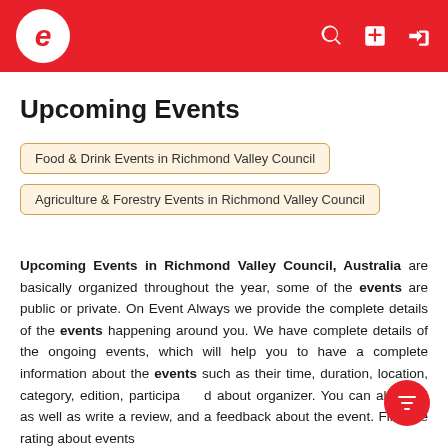e (logo) — EventAlways header with search, add, and login icons
Upcoming Events
Food & Drink Events in Richmond Valley Council
Agriculture & Forestry Events in Richmond Valley Council
Upcoming Events in Richmond Valley Council, Australia are basically organized throughout the year, some of the events are public or private. On Event Always we provide the complete details of the events happening around you. We have complete details of the ongoing events, which will help you to have a complete information about the events such as their time, duration, location, category, edition, participated about organizer. You can also find as well as write a review, and a feedback about the event. Find the rating about events